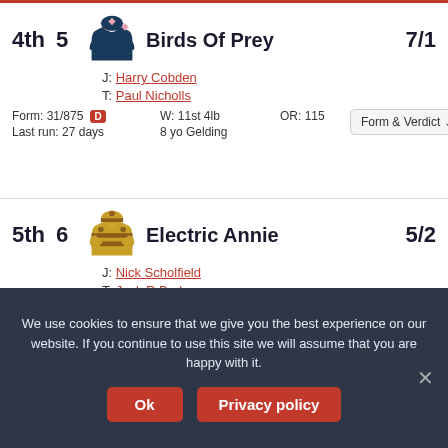4th   5   Birds Of Prey   7/1
J: Harry Cobden
T: Paul Nicholls
Form: 31/875  D   W: 11st 4lb   OR: 115
Last run: 27 days   8 yo Gelding   Form & Verdict
5th   6   Electric Annie   5/2
J: Nick Scholfield
T: Jack R Barber
Form: P-7211  CD   W: 11st 0lb   OR: 111
Last run: 54 days   7 yo Mare   Form & Verdict
We use cookies to ensure that we give you the best experience on our website. If you continue to use this site we will assume that you are happy with it.
Ok   Privacy policy